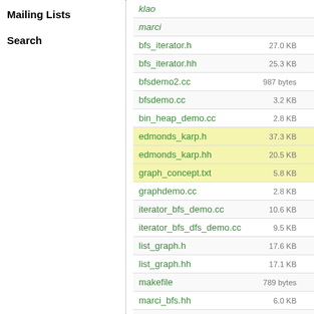Mailing Lists
Search
| Filename | Size | Rev |
| --- | --- | --- |
| klao |  | 252: |
| marci |  | 272: |
| bfs_iterator.h | 27.0 KB | 260:f |
| bfs_iterator.hh | 25.3 KB | 168:2 |
| bfsdemo2.cc | 987 bytes | 8:c |
| bfsdemo.cc | 3.2 KB | 8:c |
| bin_heap_demo.cc | 2.8 KB | 274:2 |
| edmonds_karp.h | 37.3 KB | 269:6 |
| edmonds_karp.hh | 20.5 KB | 168:2 |
| graph_concept.txt | 5.8 KB | 44:6 |
| graphdemo.cc | 2.8 KB | 35:6 |
| iterator_bfs_demo.cc | 10.6 KB | 265:b |
| iterator_bfs_dfs_demo.cc | 9.5 KB | 107:8 |
| list_graph.h | 17.6 KB | 265:b |
| list_graph.hh | 17.1 KB | 148:6 |
| makefile | 789 bytes | 243:a |
| marci_bfs.hh | 6.0 KB | 107:8 |
| marci_graph_concept.txt | 7.6 KB | 40:f |
| marci_graph_demo.cc | 9.7 KB | 243:a |